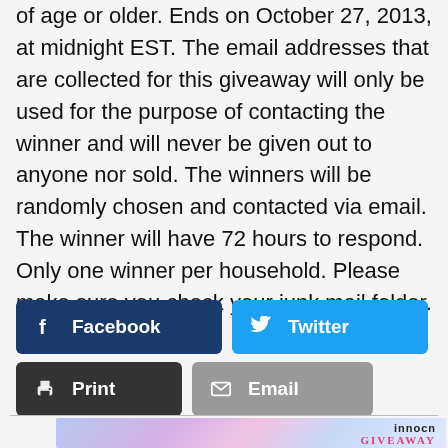of age or older. Ends on October 27, 2013, at midnight EST. The email addresses that are collected for this giveaway will only be used for the purpose of contacting the winner and will never be given out to anyone nor sold. The winners will be randomly chosen and contacted via email. The winner will have 72 hours to respond. Only one winner per household. Please make sure you check your junk mail folder.
[Figure (infographic): Social share buttons: Facebook (dark blue), Twitter (light blue), Print (dark gray), Email (gray)]
[Figure (photo): Innocn monitor giveaway promotional image with colorful gradient background and 'INNOCN GIVEAWAY' text]